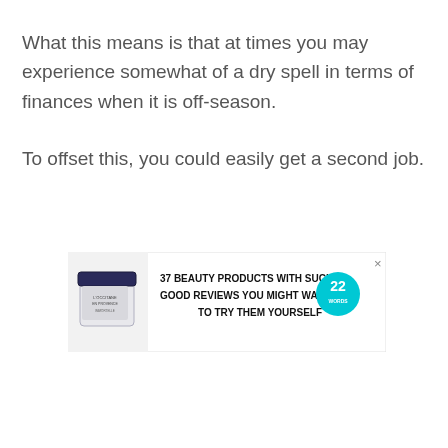What this means is that at times you may experience somewhat of a dry spell in terms of finances when it is off-season.
To offset this, you could easily get a second job.
[Figure (infographic): Advertisement banner: '37 BEAUTY PRODUCTS WITH SUCH GOOD REVIEWS YOU MIGHT WANT TO TRY THEM YOURSELF' with a product image (cream jar) on the left and a teal '22 WORDS' circle logo on the right, with an X close button.]